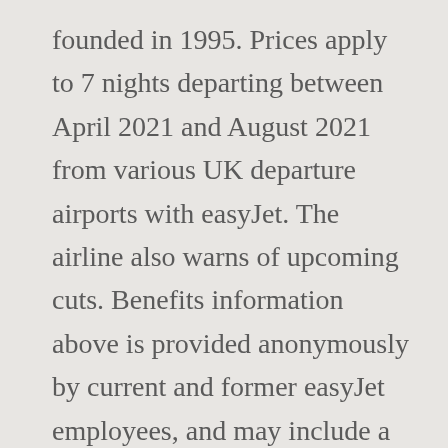founded in 1995. Prices apply to 7 nights departing between April 2021 and August 2021 from various UK departure airports with easyJet. The airline also warns of upcoming cuts. Benefits information above is provided anonymously by current and former easyJet employees, and may include a ... Flying the right-hand seat, you'll be ranked Second Officer, First Officer or Senior First Officer depending on your flying hours and airline experience. easyJet Airline Company Limited Hangar 89 London Luton Airport Luton Bedfordshire LU2 9PF United Kingdom. Average salaries for easyJet Pilot: [salary]. Airline Pilot salaries at easyJet can range from